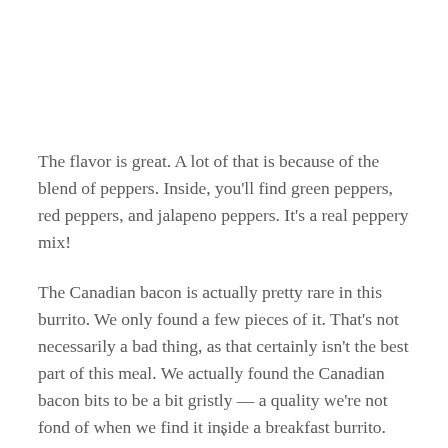The flavor is great. A lot of that is because of the blend of peppers. Inside, you'll find green peppers, red peppers, and jalapeno peppers. It's a real peppery mix!
The Canadian bacon is actually pretty rare in this burrito. We only found a few pieces of it. That's not necessarily a bad thing, as that certainly isn't the best part of this meal. We actually found the Canadian bacon bits to be a bit gristly — a quality we're not fond of when we find it inside a breakfast burrito.
The wheat tortilla tastes incredible. Many times, the tortilla is
v